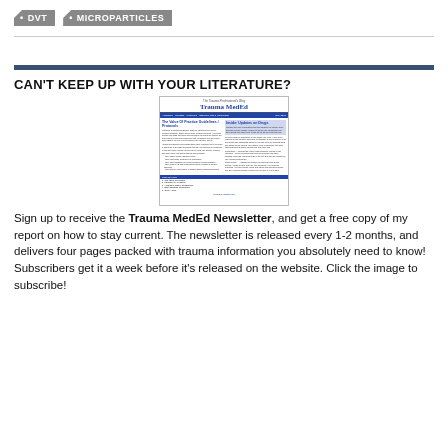• DVT
• MICROPARTICLES
CAN'T KEEP UP WITH YOUR LITERATURE?
[Figure (screenshot): Thumbnail image of the Trauma MedEd newsletter front page, showing the title 'Trauma MedEd', columns of text, and a table of contents.]
Sign up to receive the Trauma MedEd Newsletter, and get a free copy of my report on how to stay current. The newsletter is released every 1-2 months, and delivers four pages packed with trauma information you absolutely need to know! Subscribers get it a week before it's released on the website. Click the image to subscribe!